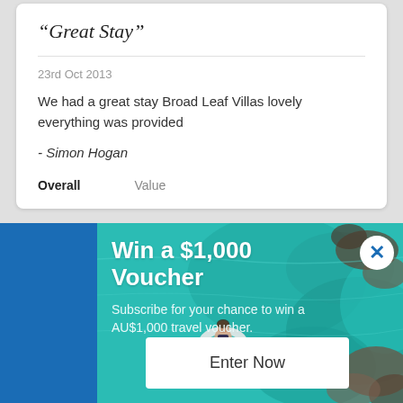“Great Stay”
23rd Oct 2013
We had a great stay Broad Leaf Villas lovely everything was provided
- Simon Hogan
Overall    Value
[Figure (photo): Popup advertisement: 'Win a $1,000 Voucher' over a teal aerial ocean photo with a person floating on a ring, with a white Enter Now button at the bottom. Close (X) button in the top right.]